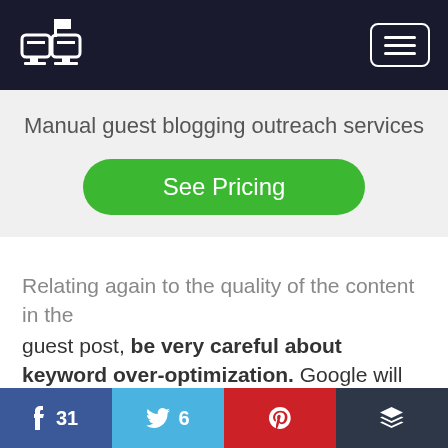Manual guest blogging outreach services — navigation bar with logo and menu button
Manual guest blogging outreach services
See Pricing
Relating again to the quality of the content in the guest post, be very careful about keyword over-optimization. Google will be happy to slap down the SEO value of the post if it includes keyword overuse, and while there's no magical formula for how often a given keyword should be used, just
Social share bar: Facebook 31, Twitter 6, Pinterest, Buffer